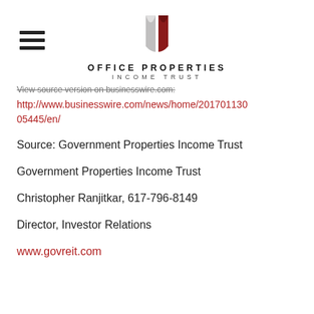[Figure (logo): Office Properties Income Trust logo with stylized book/building mark in grey and dark red, with text OFFICE PROPERTIES INCOME TRUST below]
View source version on businesswire.com:
http://www.businesswire.com/news/home/2017011305445/en/
Source: Government Properties Income Trust
Government Properties Income Trust
Christopher Ranjitkar, 617-796-8149
Director, Investor Relations
www.govreit.com